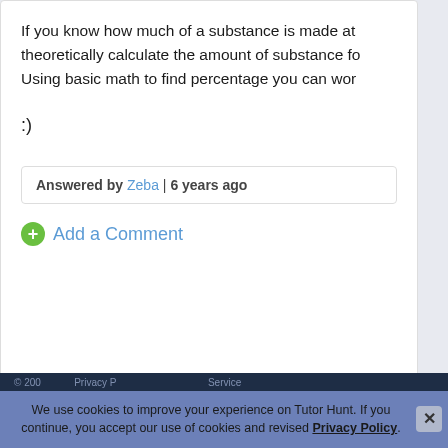If you know how much of a substance is made at theoretically calculate the amount of substance fo Using basic math to find percentage you can wor
:)
Answered by Zeba | 6 years ago
Add a Comment
© 200... Privacy P... Privacy Policy. We use cookies to improve your experience on Tutor Hunt. If you continue, you accept our use of cookies and revised Privacy Policy.